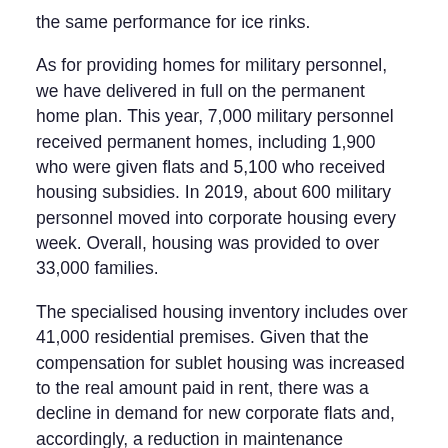the same performance for ice rinks.
As for providing homes for military personnel, we have delivered in full on the permanent home plan. This year, 7,000 military personnel received permanent homes, including 1,900 who were given flats and 5,100 who received housing subsidies. In 2019, about 600 military personnel moved into corporate housing every week. Overall, housing was provided to over 33,000 families.
The specialised housing inventory includes over 41,000 residential premises. Given that the compensation for sublet housing was increased to the real amount paid in rent, there was a decline in demand for new corporate flats and, accordingly, a reduction in maintenance expenses. In addition, families of military personnel have moved into 17,000 flats that were returned to the housing inventory by judicial decision.